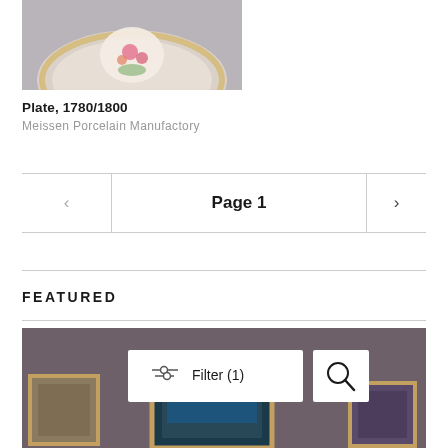[Figure (photo): Partial view of a decorated porcelain plate with floral motif on grey background]
Plate, 1780/1800
Meissen Porcelain Manufactory
Page 1
FEATURED
[Figure (photo): Museum gallery wall with framed paintings displayed, overlaid with Filter (1) and Search buttons]